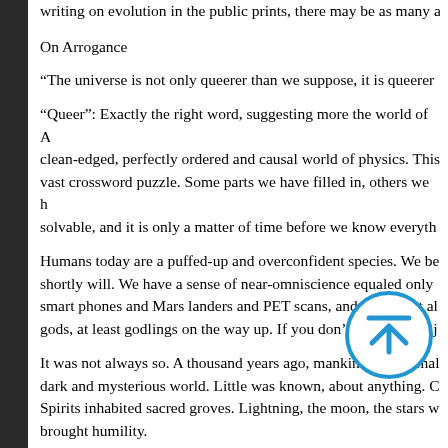writing on evolution in the public prints, there may be as many a
On Arrogance
“The universe is not only queerer than we suppose, it is queerer
“Queer”: Exactly the right word, suggesting more the world of A clean-edged, perfectly ordered and causal world of physics. This vast crossword puzzle. Some parts we have filled in, others we h solvable, and it is only a matter of time before we know everyth
Humans today are a puffed-up and overconfident species. We be shortly will. We have a sense of near-omniscience equaled only smart phones and Mars landers and PET scans, and do we not al gods, at least godlings on the way up. If you don’t believe this, j
It was not always so. A thousand years ago, mankind cast a smal dark and mysterious world. Little was known, about anything. C Spirits inhabited sacred groves. Lightning, the moon, the stars w brought humility.
[Figure (other): Circular blue scroll-up icon with an upward arrow and a horizontal line above it]
We now believe that nothing is or can be beyond our powers. A few remaining details: We don’t know where we came from, wh we are going if anywhere, or what we ought to do. These are mi when we wake up at three a.m. and remember that we are not pe